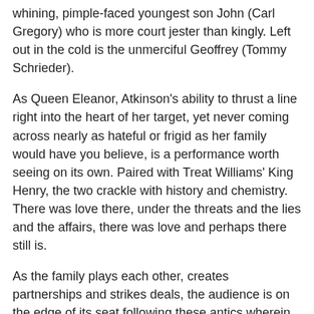whining, pimple-faced youngest son John (Carl Gregory) who is more court jester than kingly. Left out in the cold is the unmerciful Geoffrey (Tommy Schrieder).
As Queen Eleanor, Atkinson's ability to thrust a line right into the heart of her target, yet never coming across nearly as hateful or frigid as her family would have you believe, is a performance worth seeing on its own. Paired with Treat Williams' King Henry, the two crackle with history and chemistry. There was love there, under the threats and the lies and the affairs, there was love and perhaps there still is.
As the family plays each other, creates partnerships and strikes deals, the audience is on the edge of its seat following these antics wherein the only goal is to win. Going through the motions of celebrating the Christmas holiday, they tear each other down as the holly goes up. And yet, the audience never loses sight that somewhere, under it all, there is a small current of love -- buried but enough to keep everyone in the same room.